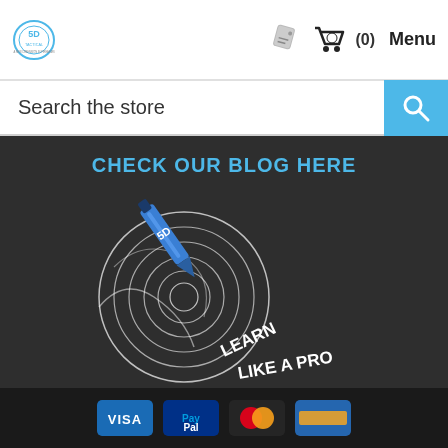[Figure (logo): 5D Tactical logo with circular badge and text 'A NEW DIMENSION IN FIREARMS']
[Figure (other): Navigation icons: price tag icon, shopping cart with (0), and Menu text]
Search the store
CHECK OUR BLOG HERE
[Figure (logo): 5D Tactical blog logo: pencil/pen pointing at a spiral target with text 'LEARN LIKE A PRO' and '5D' on the pen]
[Figure (other): Payment method icons strip at bottom: Visa, PayPal, Mastercard, and one more card icon]